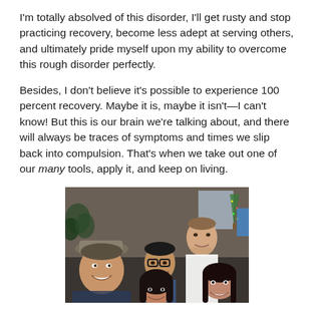I'm totally absolved of this disorder, I'll get rusty and stop practicing recovery, become less adept at serving others, and ultimately pride myself upon my ability to overcome this rough disorder perfectly.
Besides, I don't believe it's possible to experience 100 percent recovery. Maybe it is, maybe it isn't—I can't know! But this is our brain we're talking about, and there will always be traces of symptoms and times we slip back into compulsion. That's when we take out one of our many tools, apply it, and keep on living.
[Figure (photo): Group photo of several young people smiling together indoors, with a Christmas tree visible in the background.]